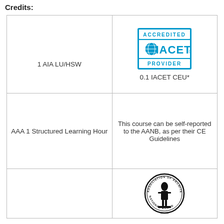Credits:
| 1 AIA LU/HSW | 0.1 IACET CEU* |
| AAA 1 Structured Learning Hour | This course can be self-reported to the AANB, as per their CE Guidelines |
|  | (seal logo) |